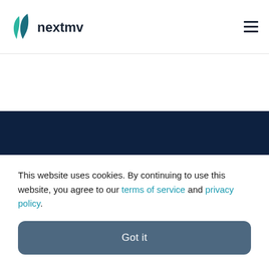[Figure (logo): Nextmv logo with leaf/feather icon in teal and dark text 'nextmv']
Products
Decision Stack
This website uses cookies. By continuing to use this website, you agree to our terms of service and privacy policy.
Got it